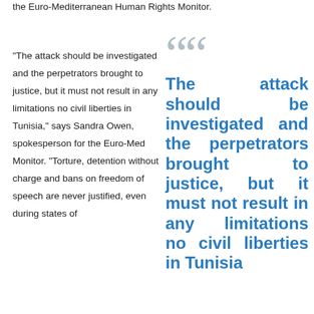the Euro-Mediterranean Human Rights Monitor.
"The attack should be investigated and the perpetrators brought to justice, but it must not result in any limitations no civil liberties in Tunisia," says Sandra Owen, spokesperson for the Euro-Med Monitor. "Torture, detention without charge and bans on freedom of speech are never justified, even during states of
The attack should be investigated and the perpetrators brought to justice, but it must not result in any limitations no civil liberties in Tunisia